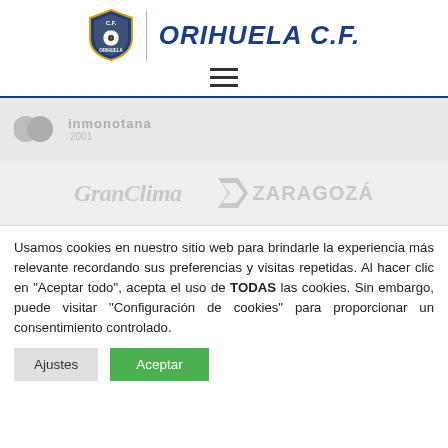[Figure (logo): Orihuela CF shield logo with blue and yellow crest, a soccer ball in center, text CF ORIHUELA on shield]
ORIHUELA C.F.
[Figure (illustration): Hamburger menu icon (three horizontal lines)]
[Figure (logo): Inmonotana 2001 sponsor logo, two overlapping circles with text, greyed out]
[Figure (logo): GranClima sponsor logo in grey italic serif font]
[Figure (logo): Zaragoza sponsor logo with geometric chevron icon in grey]
Usamos cookies en nuestro sitio web para brindarle la experiencia más relevante recordando sus preferencias y visitas repetidas. Al hacer clic en "Aceptar todo", acepta el uso de TODAS las cookies. Sin embargo, puede visitar "Configuración de cookies" para proporcionar un consentimiento controlado.
Ajustes
Aceptar